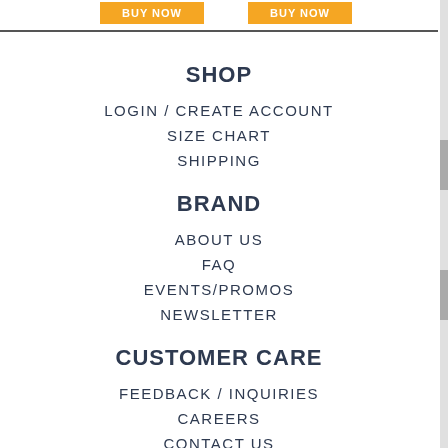[Figure (other): Two orange BUY NOW buttons at top of page]
SHOP
LOGIN / CREATE ACCOUNT
SIZE CHART
SHIPPING
BRAND
ABOUT US
FAQ
EVENTS/PROMOS
NEWSLETTER
CUSTOMER CARE
FEEDBACK / INQUIRIES
CAREERS
CONTACT US